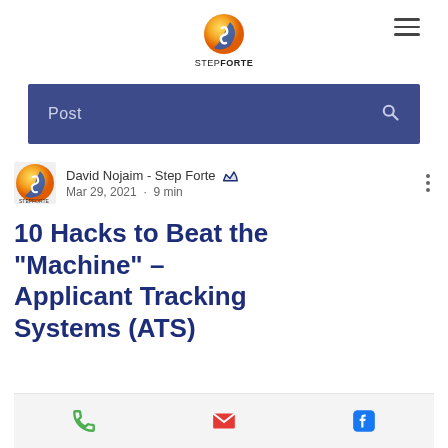STEP FORTE
[Figure (screenshot): Blue search/navigation bar with 'Post' label and search icon]
David Nojaim - Step Forte
Mar 29, 2021 · 9 min
10 Hacks to Beat the "Machine" - Applicant Tracking Systems (ATS)
[Figure (infographic): Contact bar with phone, email, and Facebook icons]